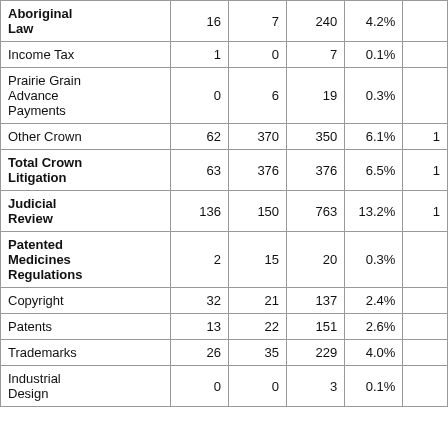| Category | Col2 | Col3 | Col4 | Col5 | Col6 |
| --- | --- | --- | --- | --- | --- |
| Aboriginal Law | 16 | 7 | 240 | 4.2% |  |
| Income Tax | 1 | 0 | 7 | 0.1% |  |
| Prairie Grain Advance Payments | 0 | 6 | 19 | 0.3% |  |
| Other Crown | 62 | 370 | 350 | 6.1% | 1 |
| Total Crown Litigation | 63 | 376 | 376 | 6.5% | 1 |
| Judicial Review | 136 | 150 | 763 | 13.2% | 1 |
| Patented Medicines Regulations | 2 | 15 | 20 | 0.3% |  |
| Copyright | 32 | 21 | 137 | 2.4% |  |
| Patents | 13 | 22 | 151 | 2.6% |  |
| Trademarks | 26 | 35 | 229 | 4.0% |  |
| Industrial Design | 0 | 0 | 3 | 0.1% |  |